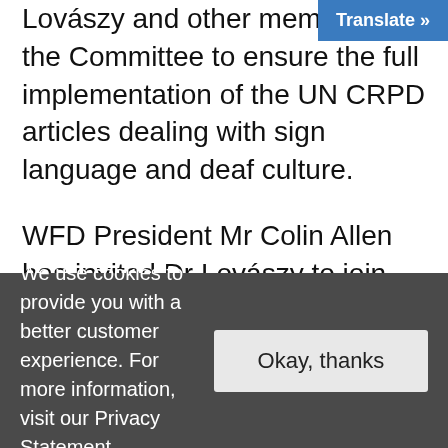Lovászy and other members of the Committee to ensure the full implementation of the UN CRPD articles dealing with sign language and deaf culture.
WFD President Mr Colin Allen has invited Dr Lovászy to join the Board's next meeting in Geneva, Switzerland in November. WFD President's interview with the newly elected
We use cookies to provide you with a better customer experience. For more information, visit our Privacy Statement.